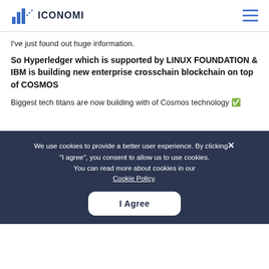ICONOMI
I've just found out huge information.
So Hyperledger which is supported by LINUX FOUNDATION & IBM is building new enterprise crosschain blockchain on top of COSMOS
Biggest tech titans are now building with of Cosmos technology
We use cookies to provide a better user experience. By clicking "I agree", you consent to allow us to use cookies. You can read more about cookies in our Cookie Policy.
More and more you can start and use ATOM the embracing - the best technology and the Cosmos network
Like i said adoption is here, price is lagging. Just a matter of time till market embraces fundamentals
[Figure (logo): Hyperledger Foundation logo]
Lab Name